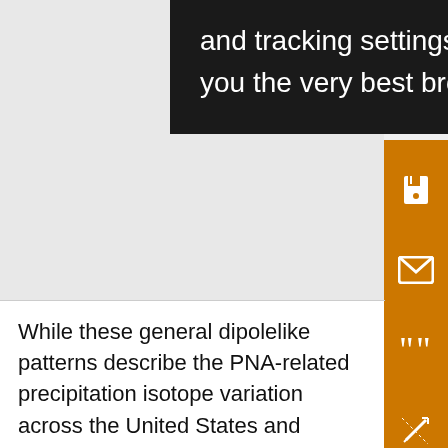[Figure (screenshot): Dark popup/tooltip overlay showing cookie consent text: 'and tracking settings to store information that help give you the very best browsing experience.' alongside an orange sidebar with save, email, quote, annotation, and share icons.]
While these general dipolelike patterns describe the PNA-related precipitation isotope variation across the United States and adjacent regions, there are still some uncertainties. For example, in the NW region, weak positive or even negative correlations occur in California and the Great Basin, as well as throughout the mid-Rockies (Figs. 5a and 6). This suggests that other (non-PNA associated) processes may play a more dominant